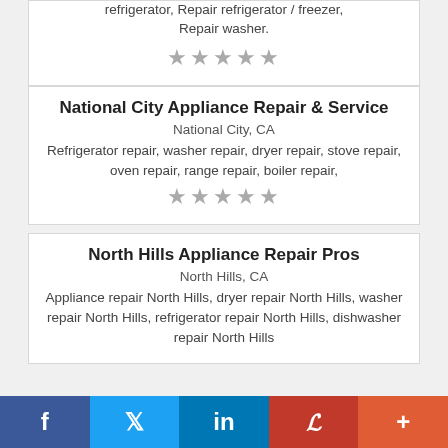refrigerator, Repair refrigerator / freezer, Repair washer.
[Figure (other): Five gray stars rating]
National City Appliance Repair & Service
National City, CA
Refrigerator repair, washer repair, dryer repair, stove repair, oven repair, range repair, boiler repair,
[Figure (other): Five gray stars rating]
North Hills Appliance Repair Pros
North Hills, CA
Appliance repair North Hills, dryer repair North Hills, washer repair North Hills, refrigerator repair North Hills, dishwasher repair North Hills
f  t  in  P  +